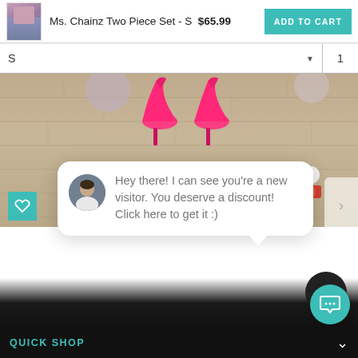Ms. Chainz Two Piece Set - S  $65.99  ADD TO CART
S  1
[Figure (screenshot): Product image showing pink high-heel shoes on a light wood floor, viewed from above]
close
Hey there! I can see you're a new visitor. You deserve a discount! Click here to get it :)
QUICK SHOP